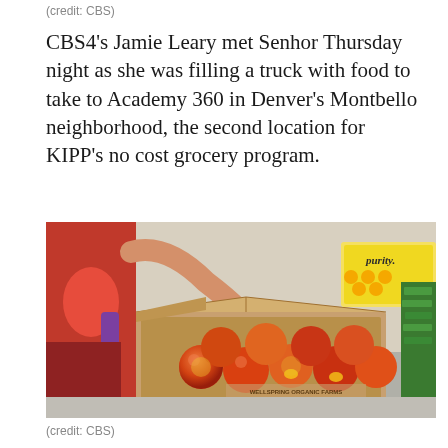(credit: CBS)
CBS4's Jamie Leary met Senhor Thursday night as she was filling a truck with food to take to Academy 360 in Denver's Montbello neighborhood, the second location for KIPP's no cost grocery program.
[Figure (photo): Person in red shirt sorting nectarines/peaches in a cardboard box labeled Wellspring Organic Farms. A Purity brand box is visible in the background along with green vegetables.]
(credit: CBS)
Senhor has two grandchildren at Academy 360 and